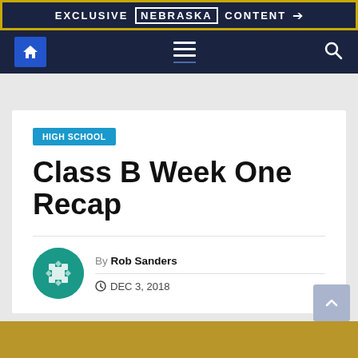EXCLUSIVE NEBRASKA CONTENT
[Figure (screenshot): Navigation bar with home icon, hamburger menu, and search icon on dark navy background]
HIGH SCHOOL
Class B Week One Recap
By Rob Sanders
DEC 3, 2018